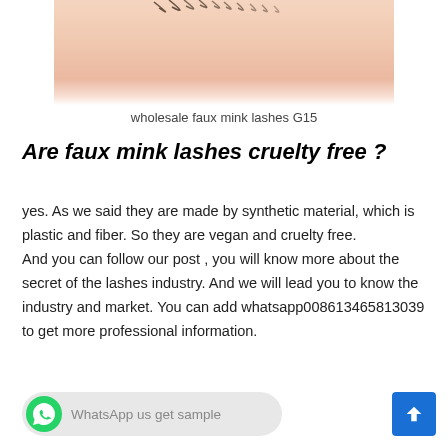[Figure (photo): Close-up photo of a person's face near the eye/cheek area with skin tones, partially cropped]
wholesale faux mink lashes G15
Are faux mink lashes cruelty free ?
yes. As we said they are made by synthetic material, which is plastic and fiber. So they are vegan and cruelty free.
And you can follow our post , you will know more about the secret of the lashes industry. And we will lead you to know the industry and market. You can add whatsapp008613465813039 to get more professional information.